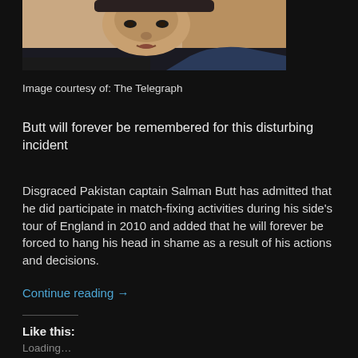[Figure (photo): Close-up photo of a man (Salman Butt), cropped at top, dark background]
Image courtesy of: The Telegraph
Butt will forever be remembered for this disturbing incident
Disgraced Pakistan captain Salman Butt has admitted that he did participate in match-fixing activities during his side's tour of England in 2010 and added that he will forever be forced to hang his head in shame as a result of his actions and decisions.
Continue reading →
Like this:
Loading...